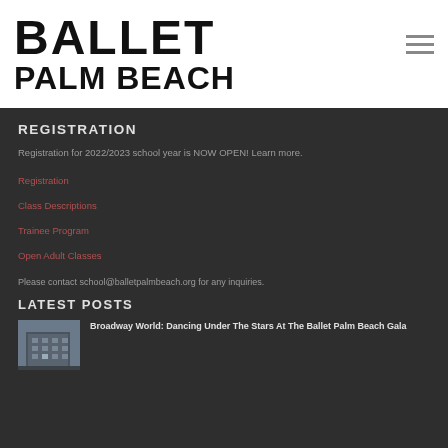[Figure (logo): Ballet Palm Beach logo with large bold text 'BALLET PALM BEACH' in black on white background]
REGISTRATION
Registration for 2022/2023 school year is NOW OPEN! Learn more.
Registration
Class Descriptions
Trainee Program
Open Adult Classes
Please contact school@balletpalmbeach.org for any inquiries.
LATEST POSTS
Broadway World: Dancing Under The Stars At The Ballet Palm Beach Gala